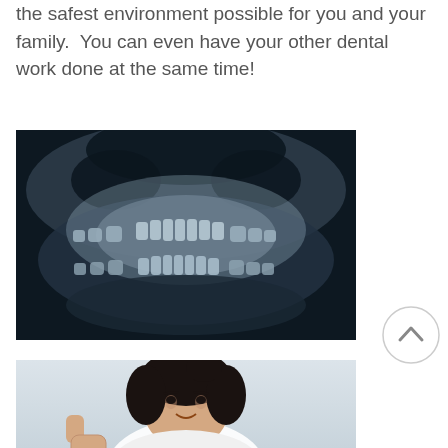the safest environment possible for you and your family.  You can even have your other dental work done at the same time!
[Figure (photo): Panoramic dental X-ray showing full set of teeth, jaw structure, and skull in blue-tinted black and white.]
[Figure (photo): A woman with dark hair giving a thumbs up gesture, cropped at top of page bottom.]